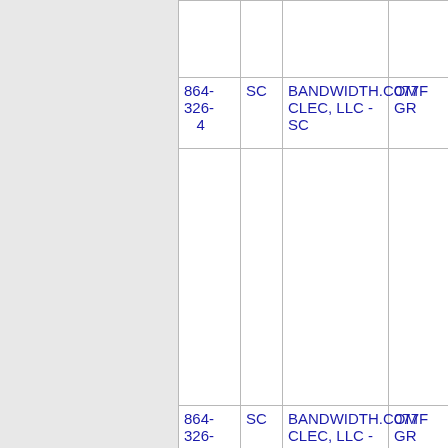| Phone | State | Carrier | Code |
| --- | --- | --- | --- |
| 864-326-4 | SC | BANDWIDTH.COM CLEC, LLC - SC | 077F GR |
| 864-326-5 | SC | BANDWIDTH.COM CLEC, LLC - SC | 077F GR |